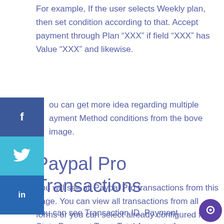For example, If the user selects Weekly plan, then set condition according to that. Accept payment through Plan “XXX” if field “XXX” has Value “XXX” and likewise.
You can get more idea regarding multiple Payment Method conditions from the above image.
Paypal Pro Transactions
You will see all Paypal Pro transactions from this page. You can view all transactions from all forms or you can select already configured form from the dropdown of form list.
You can see Transaction ID, Payment Status, Payment Type, Total Amount of transaction,